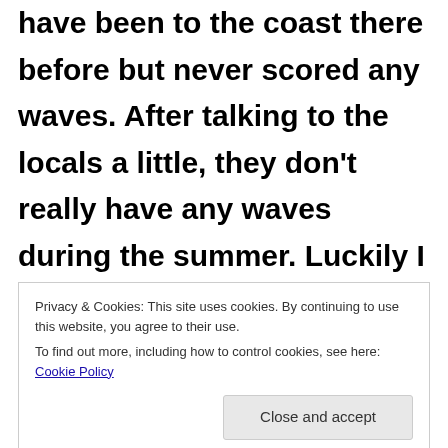have been to the coast there before but never scored any waves. After talking to the locals a little, they don't really have any waves during the summer. Luckily I had a friend that was scouting the coast early that morning and found a really awesome cove called Rye Rocks. On low
Privacy & Cookies: This site uses cookies. By continuing to use this website, you agree to their use.
To find out more, including how to control cookies, see here: Cookie Policy
Close and accept
this point break into the cove. I